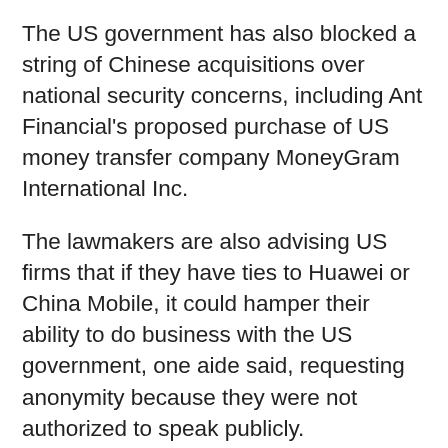The US government has also blocked a string of Chinese acquisitions over national security concerns, including Ant Financial's proposed purchase of US money transfer company MoneyGram International Inc.
The lawmakers are also advising US firms that if they have ties to Huawei or China Mobile, it could hamper their ability to do business with the US government, one aide said, requesting anonymity because they were not authorized to speak publicly.
One of the commercial ties senators and House members want AT&T to cut is its collaboration with Huawei over standards for the high-speed next generation 5G network,